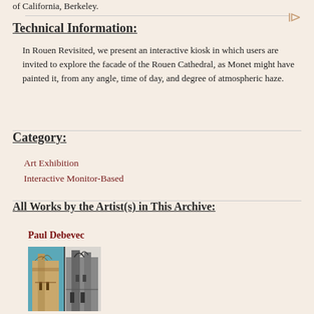of California, Berkeley.
Technical Information:
In Rouen Revisited, we present an interactive kiosk in which users are invited to explore the facade of the Rouen Cathedral, as Monet might have painted it, from any angle, time of day, and degree of atmospheric haze.
Category:
Art Exhibition
Interactive Monitor-Based
All Works by the Artist(s) in This Archive:
Paul Debevec
[Figure (photo): Split image showing two views of Rouen Cathedral — a color photograph on the left and a black-and-white rendering on the right.]